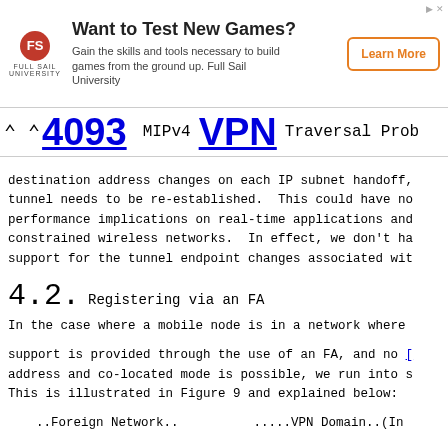[Figure (other): Advertisement banner for Full Sail University: 'Want to Test New Games? Gain the skills and tools necessary to build games from the ground up. Full Sail University' with Learn More button and Full Sail logo.]
RFC 4093  MIPv4 VPN Traversal Prob
destination address changes on each IP subnet handoff, tunnel needs to be re-established. This could have no performance implications on real-time applications and constrained wireless networks. In effect, we don't ha support for the tunnel endpoint changes associated wit
4.2. Registering via an FA
In the case where a mobile node is in a network where
support is provided through the use of an FA, and no address and co-located mode is possible, we run into s This is illustrated in Figure 9 and explained below:
..Foreign Network..          .....VPN Domain..(In